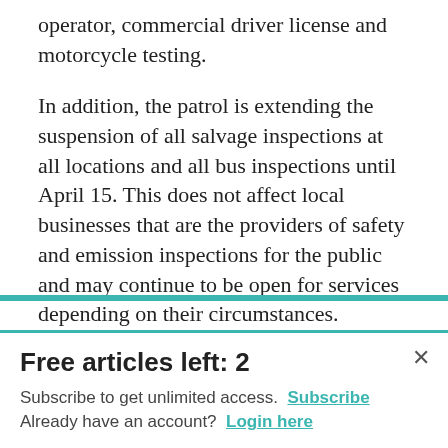operator, commercial driver license and motorcycle testing.
In addition, the patrol is extending the suspension of all salvage inspections at all locations and all bus inspections until April 15. This does not affect local businesses that are the providers of safety and emission inspections for the public and may continue to be open for services depending on their circumstances.
•Chancellors at all four University of Mi...
Free articles left: 2
Subscribe to get unlimited access. Subscribe
Already have an account? Login here